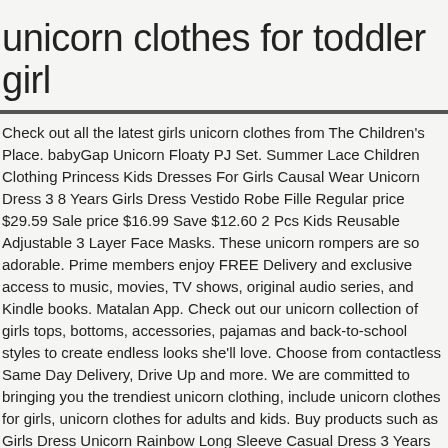unicorn clothes for toddler girl
Check out all the latest girls unicorn clothes from The Children's Place. babyGap Unicorn Floaty PJ Set. Summer Lace Children Clothing Princess Kids Dresses For Girls Causal Wear Unicorn Dress 3 8 Years Girls Dress Vestido Robe Fille Regular price $29.59 Sale price $16.99 Save $12.60 2 Pcs Kids Reusable Adjustable 3 Layer Face Masks. These unicorn rompers are so adorable. Prime members enjoy FREE Delivery and exclusive access to music, movies, TV shows, original audio series, and Kindle books. Matalan App. Check out our unicorn collection of girls tops, bottoms, accessories, pajamas and back-to-school styles to create endless looks she'll love. Choose from contactless Same Day Delivery, Drive Up and more. We are committed to bringing you the trendiest unicorn clothing, include unicorn clothes for girls, unicorn clothes for adults and kids. Buy products such as Girls Dress Unicorn Rainbow Long Sleeve Casual Dress 3 Years at Walmart and save. Shop Zazzle's cute selection of Unicorn toddler clothes. Discover Matalan's exciting range of unicorn clothing & accessories for kids. Shop online at Costco.com today! Shop for girls clothing unicorns online at Target. The Style of Your Life. Shop Clothes for Toddler Girls at JCPenney. Newest products, latest trends and bestselling items・Baby